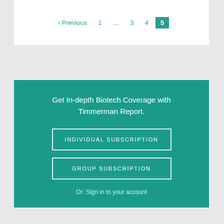‹ Previous  1  …  3  4  5
Get In-depth Biotech Coverage with Timmerman Report.
INDIVIDUAL SUBSCRIPTION
GROUP SUBSCRIPTION
Or: Sign in to your account